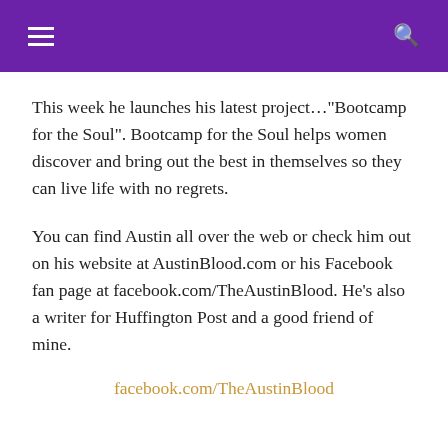This week he launches his latest project…"Bootcamp for the Soul". Bootcamp for the Soul helps women discover and bring out the best in themselves so they can live life with no regrets.
You can find Austin all over the web or check him out on his website at AustinBlood.com or his Facebook fan page at facebook.com/TheAustinBlood. He's also a writer for Huffington Post and a good friend of mine.
facebook.com/TheAustinBlood